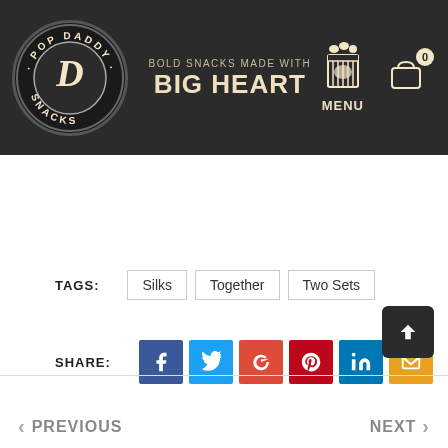[Figure (logo): Pop Daddy Snacks circular logo with stylized D in center on dark background]
BOLD SNACKS MADE WITH BIG HEART
[Figure (illustration): Popcorn bag icon and shopping cart icon with badge showing 0, and MENU label]
TAGS: Silks  Together  Two Sets
SHARE: Facebook Twitter Google+ Pinterest LinkedIn Email
PREVIOUS
NEXT